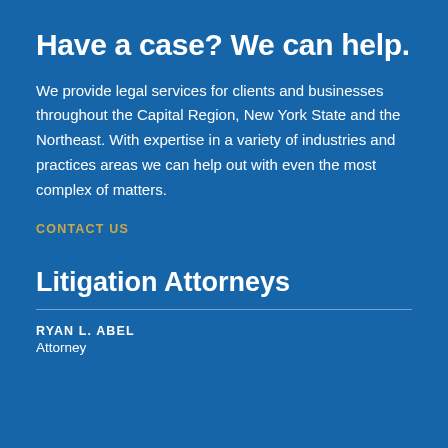Have a case? We can help.
We provide legal services for clients and businesses throughout the Capital Region, New York State and the Northeast. With expertise in a variety of industries and practices areas we can help out with even the most complex of matters.
CONTACT US
Litigation Attorneys
RYAN L. ABEL
Attorney